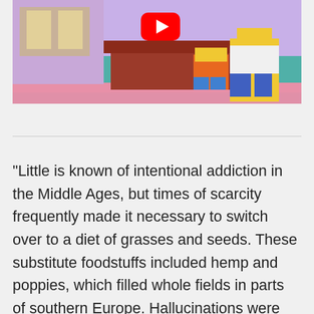[Figure (screenshot): YouTube video thumbnail showing animated characters from The Simpsons in a living room scene. A red YouTube play button is visible in the upper center.]
“Little is known of intentional addiction in the Middle Ages, but times of scarcity frequently made it necessary to switch over to a diet of grasses and seeds. These substitute foodstuffs included hemp and poppies, which filled whole fields in parts of southern Europe. Hallucinations were stimulated in any case by the recurrent lack of certain nutrients. A